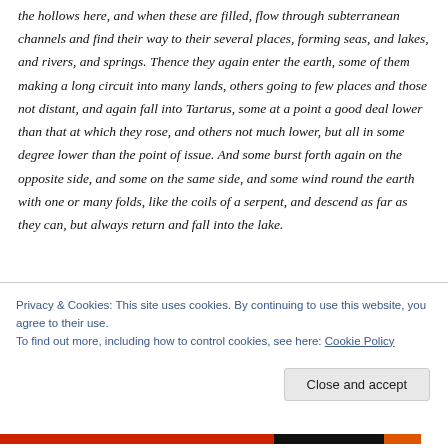the hollows here, and when these are filled, flow through subterranean channels and find their way to their several places, forming seas, and lakes, and rivers, and springs. Thence they again enter the earth, some of them making a long circuit into many lands, others going to few places and those not distant, and again fall into Tartarus, some at a point a good deal lower than that at which they rose, and others not much lower, but all in some degree lower than the point of issue. And some burst forth again on the opposite side, and some on the same side, and some wind round the earth with one or many folds, like the coils of a serpent, and descend as far as they can, but always return and fall into the lake.
Privacy & Cookies: This site uses cookies. By continuing to use this website, you agree to their use.
To find out more, including how to control cookies, see here: Cookie Policy
Close and accept